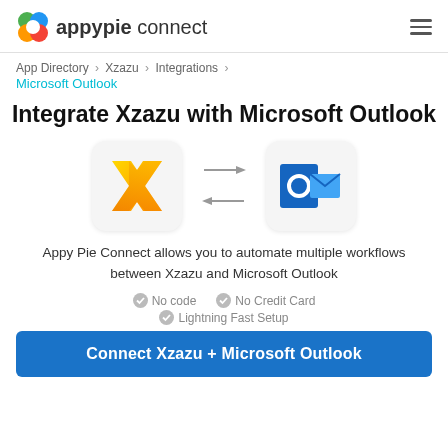appypie connect
App Directory > Xzazu > Integrations > Microsoft Outlook
Integrate Xzazu with Microsoft Outlook
[Figure (illustration): Xzazu logo (gold X) and Microsoft Outlook logo (blue O with envelope) connected by bidirectional arrows]
Appy Pie Connect allows you to automate multiple workflows between Xzazu and Microsoft Outlook
No code
No Credit Card
Lightning Fast Setup
Connect Xzazu + Microsoft Outlook